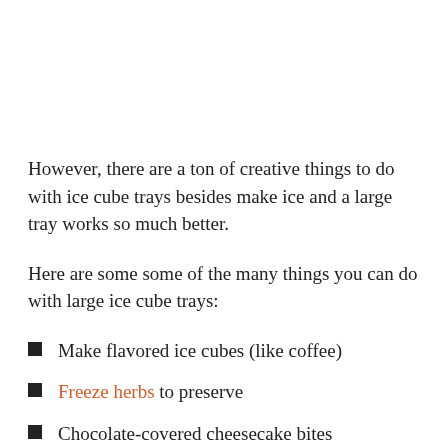However, there are a ton of creative things to do with ice cube trays besides make ice and a large tray works so much better.
Here are some some of the many things you can do with large ice cube trays:
Make flavored ice cubes (like coffee)
Freeze herbs to preserve
Chocolate-covered cheesecake bites
Freeze sauces, yogurts, and condiments